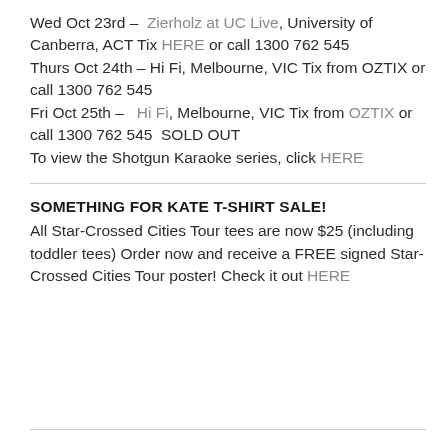Wed Oct 23rd – Zierholz at UC Live, University of Canberra, ACT Tix HERE or call 1300 762 545 Thurs Oct 24th – Hi Fi, Melbourne, VIC Tix from OZTIX or call 1300 762 545 Fri Oct 25th – Hi Fi, Melbourne, VIC Tix from OZTIX or call 1300 762 545  SOLD OUT To view the Shotgun Karaoke series, click HERE
SOMETHING FOR KATE T-SHIRT SALE!
All Star-Crossed Cities Tour tees are now $25 (including toddler tees) Order now and receive a FREE signed Star-Crossed Cities Tour poster! Check it out HERE